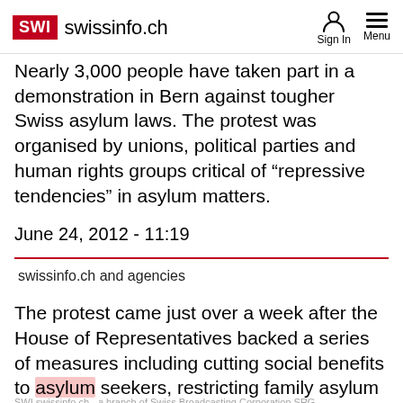SWI swissinfo.ch | Sign In | Menu
Nearly 3,000 people have taken part in a demonstration in Bern against tougher Swiss asylum laws. The protest was organised by unions, political parties and human rights groups critical of "repressive tendencies" in asylum matters.
June 24, 2012 - 11:19
swissinfo.ch and agencies
The protest came just over a week after the House of Representatives backed a series of measures including cutting social benefits to asylum seekers, restricting family asylum
SWI swissinfo.ch - a branch of Swiss Broadcasting Corporation SRG